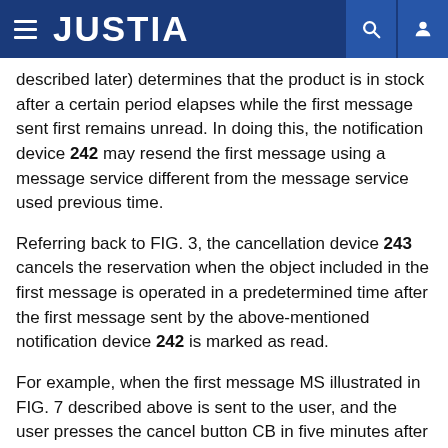JUSTIA
described later) determines that the product is in stock after a certain period elapses while the first message sent first remains unread. In doing this, the notification device 242 may resend the first message using a message service different from the message service used previous time.
Referring back to FIG. 3, the cancellation device 243 cancels the reservation when the object included in the first message is operated in a predetermined time after the first message sent by the above-mentioned notification device 242 is marked as read.
For example, when the first message MS illustrated in FIG. 7 described above is sent to the user, and the user presses the cancel button CB in five minutes after reading the first message MS, the cancellation device